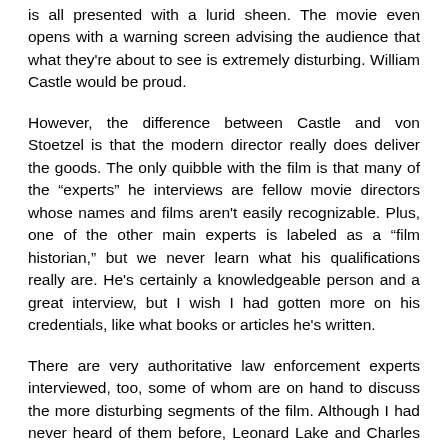is all presented with a lurid sheen. The movie even opens with a warning screen advising the audience that what they're about to see is extremely disturbing. William Castle would be proud.
However, the difference between Castle and von Stoetzel is that the modern director really does deliver the goods. The only quibble with the film is that many of the “experts” he interviews are fellow movie directors whose names and films aren't easily recognizable. Plus, one of the other main experts is labeled as a “film historian,” but we never learn what his qualifications really are. He's certainly a knowledgeable person and a great interview, but I wish I had gotten more on his credentials, like what books or articles he's written.
There are very authoritative law enforcement experts interviewed, too, some of whom are on hand to discuss the more disturbing segments of the film. Although I had never heard of them before, Leonard Lake and Charles Ng captured, tortured and killed several men, women and babies in Northern California in the ’80s — and videotaped themselves doing it. The film includes excerpts from these videos. Nothing grisly is